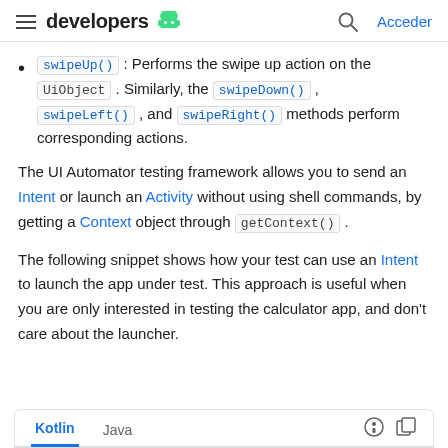developers | Acceder
swipeUp() : Performs the swipe up action on the UiObject . Similarly, the swipeDown() , swipeLeft() , and swipeRight() methods perform corresponding actions.
The UI Automator testing framework allows you to send an Intent or launch an Activity without using shell commands, by getting a Context object through getContext() .
The following snippet shows how your test can use an Intent to launch the app under test. This approach is useful when you are only interested in testing the calculator app, and don't care about the launcher.